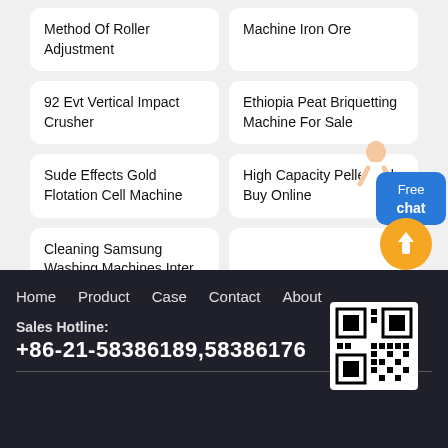Method Of Roller Adjustment
Machine Iron Ore
92 Evt Vertical Impact Crusher
Ethiopia Peat Briquetting Machine For Sale
Sude Effects Gold Flotation Cell Machine
High Capacity Pellet Mill Buy Online
Cleaning Samsung Washing Machines Inter
Free chat
Home  Product  Case  Contact  About
Sales Hotline:
+86-21-58386189,58386176